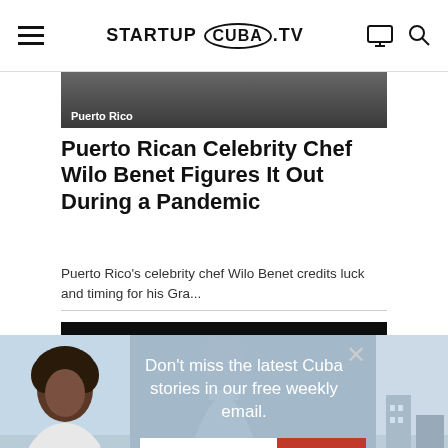STARTUP CUBA TV
[Figure (photo): Partially visible article image with Puerto Rico tag overlay]
Puerto Rican Celebrity Chef Wilo Benet Figures It Out During a Pandemic
Puerto Rico's celebrity chef Wilo Benet credits luck and timing for his Gra...
[Figure (photo): Dark portrait photo of a man in a white tank top against black background]
[Figure (infographic): Email signup popup overlay with woman photo, text: Don't miss the latest Cuba stories in our free weekly email, email input field, SIGN UP button, and No thanks link]